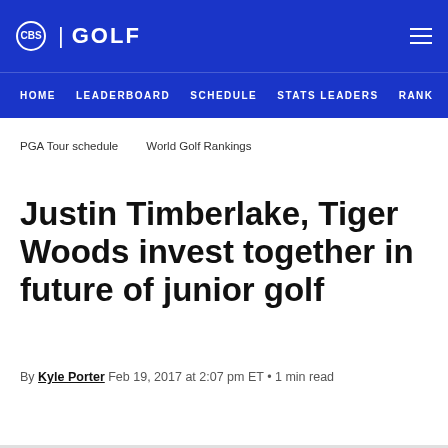CBS | GOLF
HOME  LEADERBOARD  SCHEDULE  STATS LEADERS  RANK
PGA Tour schedule  World Golf Rankings
Justin Timberlake, Tiger Woods invest together in future of junior golf
By Kyle Porter Feb 19, 2017 at 2:07 pm ET • 1 min read